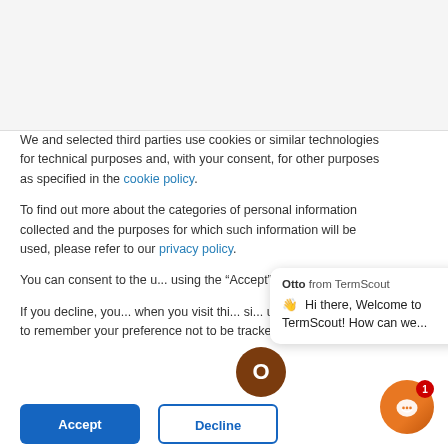We and selected third parties use cookies or similar technologies for technical purposes and, with your consent, for other purposes as specified in the cookie policy.

To find out more about the categories of personal information collected and the purposes for which such information will be used, please refer to our privacy policy.

You can consent to the u... using the "Accept" button

If you decline, you... when you visit thi... si... used in your browser to remember your preference not to be tracked.
[Figure (screenshot): Chat popup from TermScout with Otto avatar and greeting: Hi there, Welcome to TermScout! How can we...]
Accept
Decline